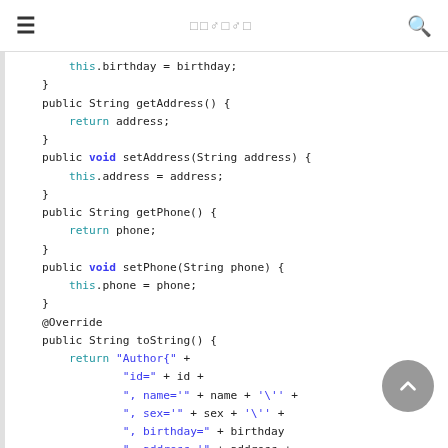≡  □□♂□♂□  🔍
this.birthday = birthday;
    }
    public String getAddress() {
        return address;
    }
    public void setAddress(String address) {
        this.address = address;
    }
    public String getPhone() {
        return phone;
    }
    public void setPhone(String phone) {
        this.phone = phone;
    }
    @Override
    public String toString() {
        return "Author{" +
                "id=" + id +
                ", name='" + name + '\'' +
                ", sex='" + sex + '\'' +
                ", birthday=" + birthday
                ", address='" + address +
                ", phone='" + phone + '\'' +
                ", articles=" + articles +
                ", articleCommts=" + articleCo